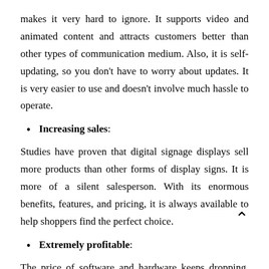makes it very hard to ignore. It supports video and animated content and attracts customers better than other types of communication medium. Also, it is self-updating, so you don't have to worry about updates. It is very easier to use and doesn't involve much hassle to operate.
Increasing sales:
Studies have proven that digital signage displays sell more products than other forms of display signs. It is more of a silent salesperson. With its enormous benefits, features, and pricing, it is always available to help shoppers find the perfect choice.
Extremely profitable:
The price of software and hardware keeps dropping, which